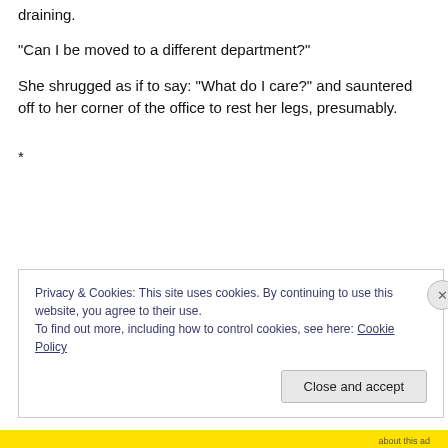draining.
“Can I be moved to a different department?”
She shrugged as if to say: “What do I care?” and sauntered off to her corner of the office to rest her legs, presumably.
*
Privacy & Cookies: This site uses cookies. By continuing to use this website, you agree to their use.
To find out more, including how to control cookies, see here: Cookie Policy
Close and accept